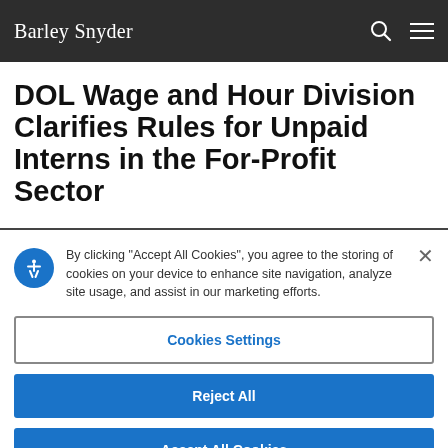Barley Snyder
DOL Wage and Hour Division Clarifies Rules for Unpaid Interns in the For-Profit Sector
By clicking “Accept All Cookies”, you agree to the storing of cookies on your device to enhance site navigation, analyze site usage, and assist in our marketing efforts.
Cookies Settings
Reject All
Accept All Cookies